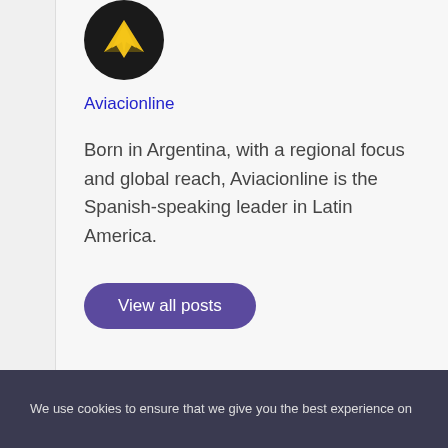[Figure (logo): Aviacionline logo: circular dark background with yellow airplane/bird icon]
Aviacionline
Born in Argentina, with a regional focus and global reach, Aviacionline is the Spanish-speaking leader in Latin America.
View all posts
We use cookies to ensure that we give you the best experience on